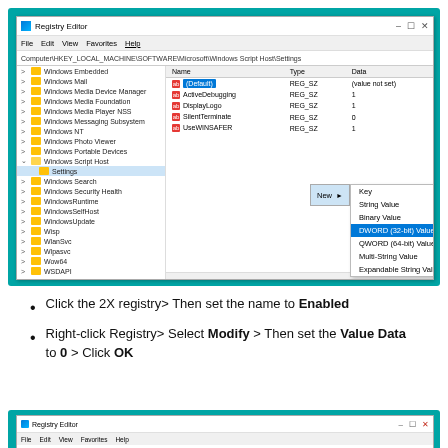[Figure (screenshot): Windows Registry Editor showing HKEY_LOCAL_MACHINE\SOFTWARE\Microsoft\Windows Script Host\Settings with entries: (Default) REG_SZ (value not set), ActiveDebugging REG_SZ 1, DisplayLogo REG_SZ 1, SilentTerminate REG_SZ 0, UseWINSAFER REG_SZ 1. A right-click context menu shows New > with options: Key, String Value, Binary Value, DWORD (32-bit) Value (highlighted), QWORD (64-bit) Value, Multi-String Value, Expandable String Value.]
Click the 2X registry> Then set the name to Enabled
Right-click Registry> Select Modify > Then set the Value Data to 0 > Click OK
[Figure (screenshot): Partial view of another Registry Editor window (bottom of page).]